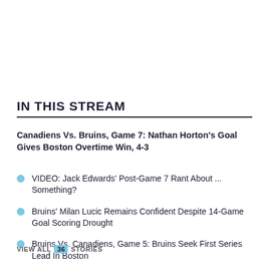IN THIS STREAM
Canadiens Vs. Bruins, Game 7: Nathan Horton's Goal Gives Boston Overtime Win, 4-3
VIDEO: Jack Edwards' Post-Game 7 Rant About ... Something?
Bruins' Milan Lucic Remains Confident Despite 14-Game Goal Scoring Drought
Bruins Vs. Canadiens, Game 5: Bruins Seek First Series Lead In Boston
VIEW ALL 36 STORIES